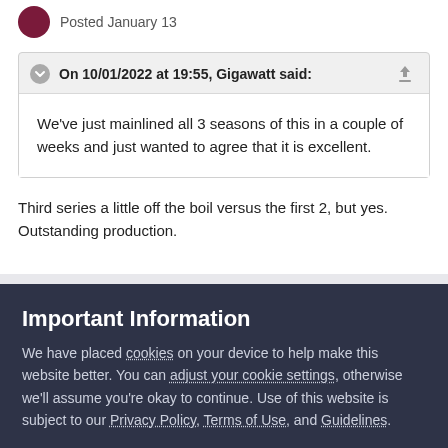Posted January 13
On 10/01/2022 at 19:55, Gigawatt said:
We've just mainlined all 3 seasons of this in a couple of weeks and just wanted to agree that it is excellent.
Third series a little off the boil versus the first 2, but yes. Outstanding production.
Important Information
We have placed cookies on your device to help make this website better. You can adjust your cookie settings, otherwise we'll assume you're okay to continue. Use of this website is subject to our Privacy Policy, Terms of Use, and Guidelines.
✓  I accept